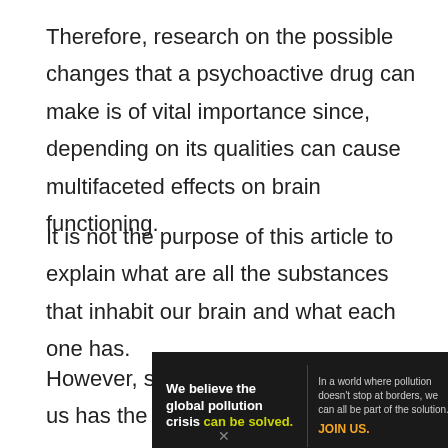Therefore, research on the possible changes that a psychoactive drug can make is of vital importance since, depending on its qualities can cause multifaceted effects on brain functioning.
It is not the purpose of this article to explain what are all the substances that inhabit our brain and what each one has.
However, since the drug that affects us has the
[Figure (other): Advertisement banner for Pure Earth organization. Black background. Left section bold white text: 'We believe the global pollution crisis can be solved.' with 'can be solved.' in green/yellow. Middle section small white text: 'In a world where pollution doesn't stop at borders, we can all be part of the solution.' with 'JOIN US.' in orange. Right section: Pure Earth logo with diamond/leaf icon and 'PURE EARTH' in white bold text.]